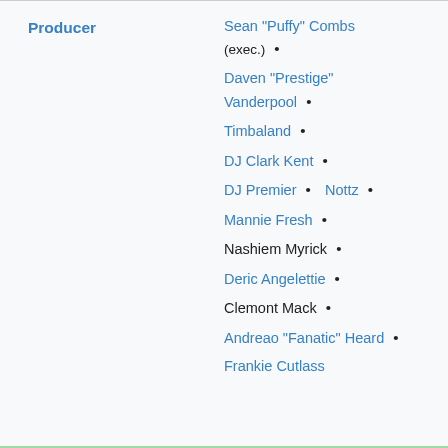Producer
Sean "Puffy" Combs (exec.) •
Daven "Prestige" Vanderpool •
Timbaland •
DJ Clark Kent •
DJ Premier • Nottz •
Mannie Fresh •
Nashiem Myrick •
Deric Angelettie •
Clemont Mack •
Andreao "Fanatic" Heard •
Frankie Cutlass